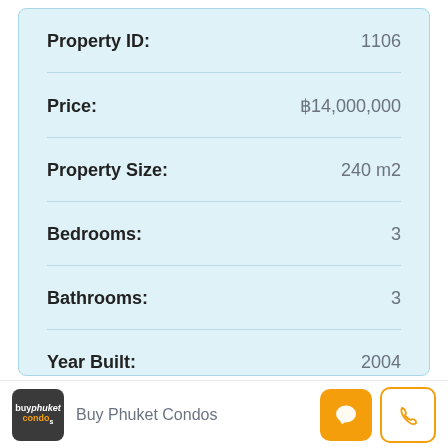| Field | Value |
| --- | --- |
| Property ID: | 1106 |
| Price: | ฿14,000,000 |
| Property Size: | 240 m2 |
| Bedrooms: | 3 |
| Bathrooms: | 3 |
| Year Built: | 2004 |
Buy Phuket Condos